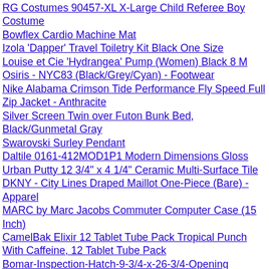RG Costumes 90457-XL X-Large Child Referee Boy Costume
Bowflex Cardio Machine Mat
Izola 'Dapper' Travel Toiletry Kit Black One Size
Louise et Cie 'Hydrangea' Pump (Women) Black 8 M
Osiris - NYC83 (Black/Grey/Cyan) - Footwear
Nike Alabama Crimson Tide Performance Fly Speed Full Zip Jacket - Anthracite
Silver Screen Twin over Futon Bunk Bed, Black/Gunmetal Gray
Swarovski Surley Pendant
Daltile 0161-412MOD1P1 Modern Dimensions Gloss Urban Putty 12 3/4" x 4 1/4" Ceramic Multi-Surface Tile
DKNY - City Lines Draped Maillot One-Piece (Bare) - Apparel
MARC by Marc Jacobs Commuter Computer Case (15 Inch)
CamelBak Elixir 12 Tablet Tube Pack Tropical Punch With Caffeine, 12 Tablet Tube Pack
Bomar-Inspection-Hatch-9-3/4-x-26-3/4-Opening
Vaneli - Pamir (Black E-Print/Matching Ferns Patent/Clear Stones) - Footwear
Timberland - Earthkeepers Maeslin Ankle Strap Sandal (Medium Brown) - Footwear
Kentucky Wildcats 50" x 60" Royal Blue-Black Team Spirit Royal Plush Blanket Throw
Tibi Sierra V Neck Tank - White/Black Multi
West Virginia Mountaineers Nike Womens Rally Funnel Hood-Rewind Sweatshirt AAA Navy Blue
Sadlier Zoetrope Appareling Skin (Blue) - Apparel